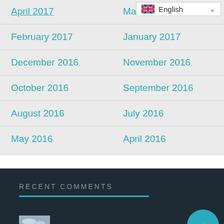April 2017
March 2017
February 2017
January 2017
December 2016
November 2016
October 2016
September 2016
August 2016
July 2016
May 2016
April 2016
Recent Comments
[Figure (photo): Thumbnail photo of a car on a road, used in Recent Comments section]